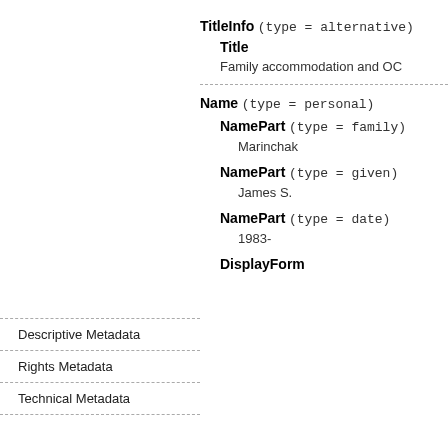TitleInfo (type = alternative)
Title
Family accommodation and OC
Name (type = personal)
NamePart (type = family)
Marinchak
NamePart (type = given)
James S.
Descriptive Metadata
Rights Metadata
Technical Metadata
NamePart (type = date)
1983-
DisplayForm